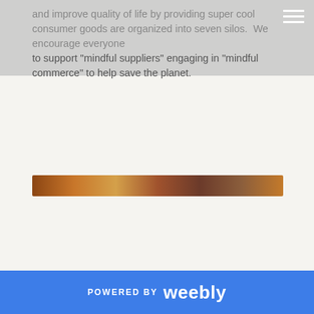and improve quality of life by providing super cool consumer goods are organized into seven silos.  We encourage everyone to support "mindful suppliers" engaging in "mindful commerce" to help save the planet.
[Figure (photo): A narrow horizontal strip showing what appears to be a close-up of a wooden or metallic surface with warm brown and golden tones.]
POWERED BY weebly